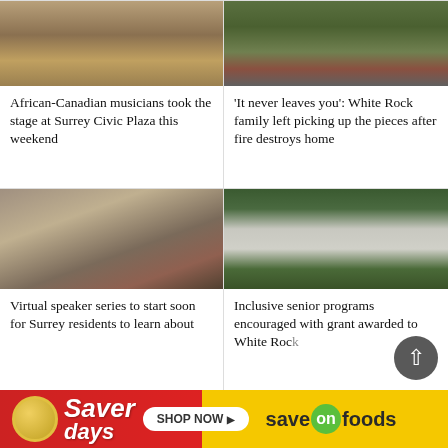[Figure (photo): African-Canadian musicians performing at Surrey Civic Plaza]
African-Canadian musicians took the stage at Surrey Civic Plaza this weekend
[Figure (photo): Fire truck and people outside a home, related to White Rock family fire story]
‘It never leaves you’: White Rock family left picking up the pieces after fire destroys home
[Figure (photo): Woman on video call with man on laptop screen]
Virtual speaker series to start soon for Surrey residents to learn about
[Figure (photo): City Hall sign for City of White Rock]
Inclusive senior programs encouraged with grant awarded to White Rock
[Figure (other): Save On Foods Saver Days advertisement banner]